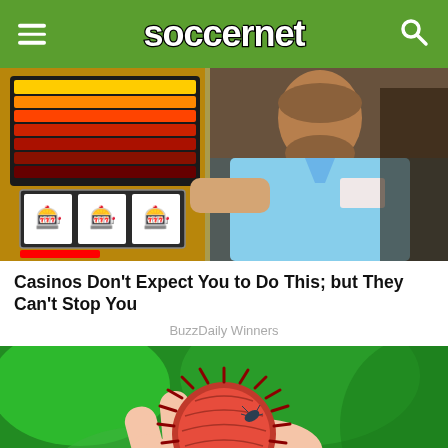soccernet
[Figure (photo): Man in blue shirt standing next to a slot machine in a casino]
Casinos Don't Expect You to Do This; but They Can't Stop You
BuzzDaily Winners
[Figure (photo): Hand holding a red spiky tropical fruit (rambutan) with green background]